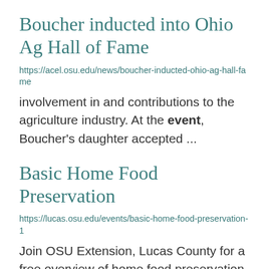Boucher inducted into Ohio Ag Hall of Fame
https://acel.osu.edu/news/boucher-inducted-ohio-ag-hall-fame
involvement in and contributions to the agriculture industry. At the event, Boucher's daughter accepted ...
Basic Home Food Preservation
https://lucas.osu.edu/events/basic-home-food-preservation-1
Join OSU Extension, Lucas County for a free overview of home food preservation. Learn basic food ...